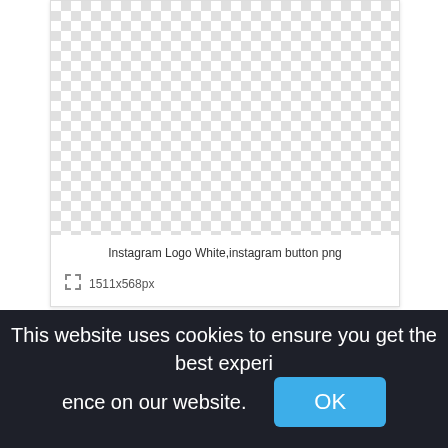[Figure (screenshot): A transparent checkerboard image placeholder area for Instagram Logo White, instagram button png, 1511x568px]
Instagram Logo White,instagram button png
1511x568px
This website uses cookies to ensure you get the best experience on our website.